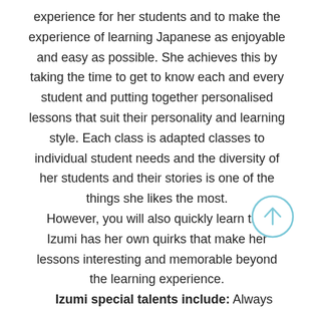experience for her students and to make the experience of learning Japanese as enjoyable and easy as possible. She achieves this by taking the time to get to know each and every student and putting together personalised lessons that suit their personality and learning style. Each class is adapted classes to individual student needs and the diversity of her students and their stories is one of the things she likes the most.
However, you will also quickly learn that is Izumi has her own quirks that make her lessons interesting and memorable beyond the learning experience.
Izumi special talents include: Always looking fashionable (even on off days), making
[Figure (other): A circular scroll-to-top button with a light blue border and an upward-pointing arrow icon]